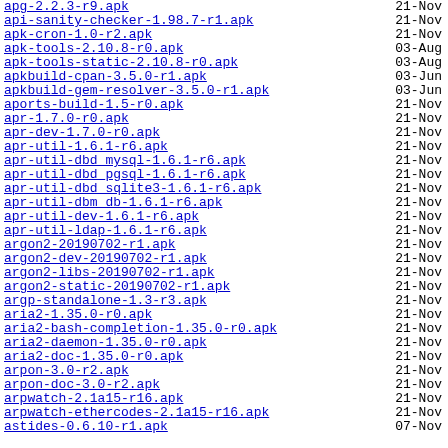apg-2.2.3-r9.apk  21-Nov
api-sanity-checker-1.98.7-r1.apk  21-Nov
apk-cron-1.0-r2.apk  21-Nov
apk-tools-2.10.8-r0.apk  03-Aug
apk-tools-static-2.10.8-r0.apk  03-Aug
apkbuild-cpan-3.5.0-r1.apk  03-Jun
apkbuild-gem-resolver-3.5.0-r1.apk  03-Jun
aports-build-1.5-r0.apk  21-Nov
apr-1.7.0-r0.apk  21-Nov
apr-dev-1.7.0-r0.apk  21-Nov
apr-util-1.6.1-r6.apk  21-Nov
apr-util-dbd_mysql-1.6.1-r6.apk  21-Nov
apr-util-dbd_pgsql-1.6.1-r6.apk  21-Nov
apr-util-dbd_sqlite3-1.6.1-r6.apk  21-Nov
apr-util-dbm_db-1.6.1-r6.apk  21-Nov
apr-util-dev-1.6.1-r6.apk  21-Nov
apr-util-ldap-1.6.1-r6.apk  21-Nov
argon2-20190702-r1.apk  21-Nov
argon2-dev-20190702-r1.apk  21-Nov
argon2-libs-20190702-r1.apk  21-Nov
argon2-static-20190702-r1.apk  21-Nov
argp-standalone-1.3-r3.apk  21-Nov
aria2-1.35.0-r0.apk  21-Nov
aria2-bash-completion-1.35.0-r0.apk  21-Nov
aria2-daemon-1.35.0-r0.apk  21-Nov
aria2-doc-1.35.0-r0.apk  21-Nov
arpon-3.0-r2.apk  21-Nov
arpon-doc-3.0-r2.apk  21-Nov
arpwatch-2.1a15-r16.apk  21-Nov
arpwatch-ethercodes-2.1a15-r16.apk  21-Nov
astides-0.6.10-r1.apk  07-Nov